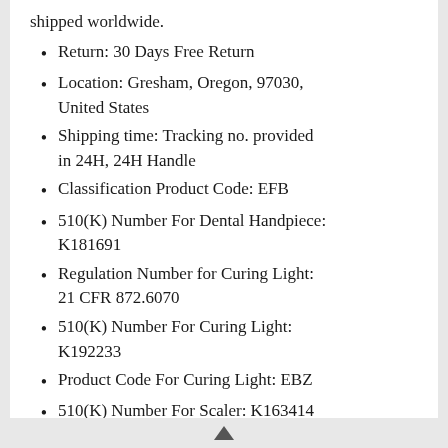shipped worldwide.
Return: 30 Days Free Return
Location: Gresham, Oregon, 97030, United States
Shipping time: Tracking no. provided in 24H, 24H Handle
Classification Product Code: EFB
510(K) Number For Dental Handpiece: K181691
Regulation Number for Curing Light: 21 CFR 872.6070
510(K) Number For Curing Light: K192233
Product Code For Curing Light: EBZ
510(K) Number For Scaler: K163414
Regulation Number For Dental